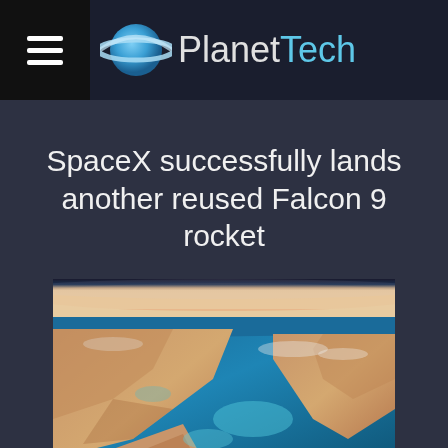PlanetTech
SpaceX successfully lands another reused Falcon 9 rocket
[Figure (photo): Aerial/orbital photo of a coastline and body of water (likely the Red Sea or Gulf area) taken from space, showing desert terrain, water, and the Earth's curvature with atmosphere at the top.]